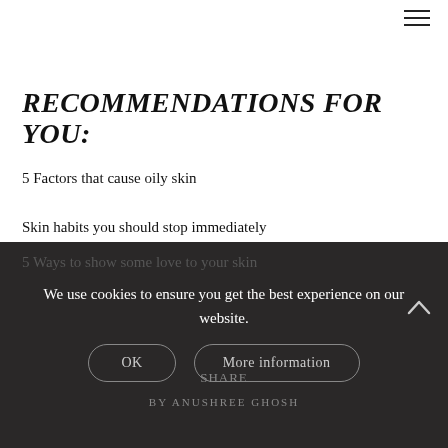[Figure (other): Hamburger menu icon (three horizontal lines) in top right corner]
RECOMMENDATIONS FOR YOU:
5 Factors that cause oily skin
Skin habits you should stop immediately
5 Ways to show some love to your skin
We use cookies to ensure you get the best experience on our website.
OK
More information
SHARE
BY ANUSHREE GHOSH